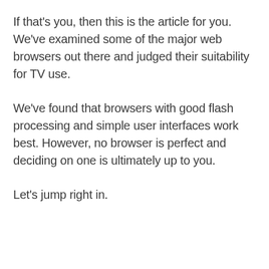If that's you, then this is the article for you. We've examined some of the major web browsers out there and judged their suitability for TV use.
We've found that browsers with good flash processing and simple user interfaces work best. However, no browser is perfect and deciding on one is ultimately up to you.
Let's jump right in.